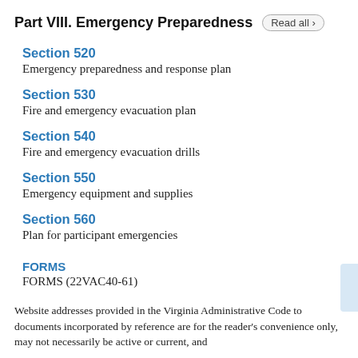Part VIII. Emergency Preparedness
Section 520
Emergency preparedness and response plan
Section 530
Fire and emergency evacuation plan
Section 540
Fire and emergency evacuation drills
Section 550
Emergency equipment and supplies
Section 560
Plan for participant emergencies
FORMS
FORMS (22VAC40-61)
Website addresses provided in the Virginia Administrative Code to documents incorporated by reference are for the reader's convenience only, may not necessarily be active or current, and